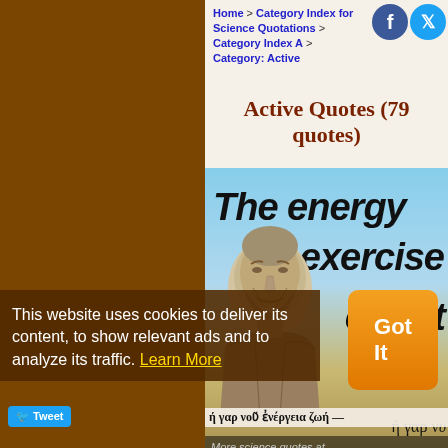Home > Category Index for Science Quotations > Category Index A > Category: Active
Active Quotes (79 quotes)
[Figure (illustration): Aristotle bust sculpture on a blue sky and earth background with large italic text reading 'The energy exercise const' and Greek text 'ή γαρ νο']
More science quotes at
This website uses cookies to deliver its content, to show relevant ads and to analyze its traffic. Learn More
ή γαρ νου ενέργεια ζωή